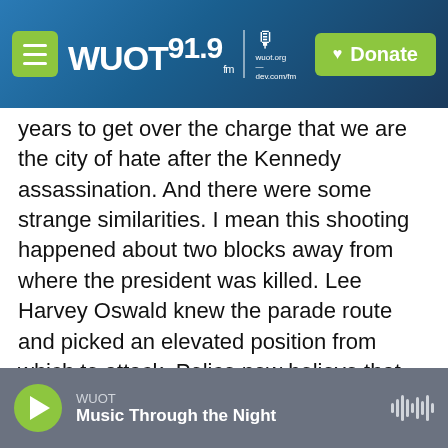WUOT 91.9 FM | wuot.org | Donate
years to get over the charge that we are the city of hate after the Kennedy assassination. And there were some strange similarities. I mean this shooting happened about two blocks away from where the president was killed. Lee Harvey Oswald knew the parade route and picked an elevated position from which to attack. Police now believe that these snipers knew the protest route and they took an elevated position from which to attack.

And both of these attacks, you know, just had - were to devastating effect. And I can tell you right now that, you know, the city of Dallas is stunned
WUOT | Music Through the Night